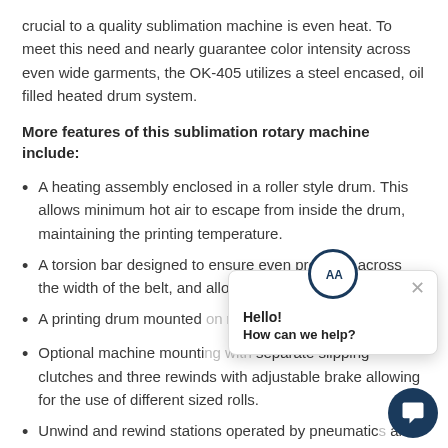crucial to a quality sublimation machine is even heat. To meet this need and nearly guarantee color intensity across even wide garments, the OK-405 utilizes a steel encased, oil filled heated drum system.
More features of this sublimation rotary machine include:
A heating assembly enclosed in a roller style drum. This allows minimum hot air to escape from inside the drum, maintaining the printing temperature.
A torsion bar designed to ensure even pressure across the width of the belt, and allowing for a crisp, even print.
A printing drum mounted on roller bearings on shafts.
Optional machine mounting with separate slipping clutches and three rewinds with adjustable brake allowing for the use of different sized rolls.
Unwind and rewind stations operated by pneumatic and brakes.